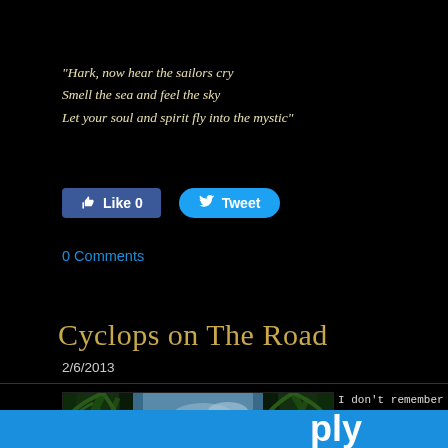"Hark, now hear the sailors cry
Smell the sea and feel the sky
Let your soul and spirit fly into the mystic"
[Figure (screenshot): Facebook Like button (0 likes) and Twitter Tweet button]
0 Comments
Cyclops on The Road
2/6/2013
[Figure (photo): A road winding through lush tropical palm trees and jungle foliage with a blue sky visible above]
I don't remember but I do recall they me of the time. When I did
I more clearly recollec school that told tales
ply